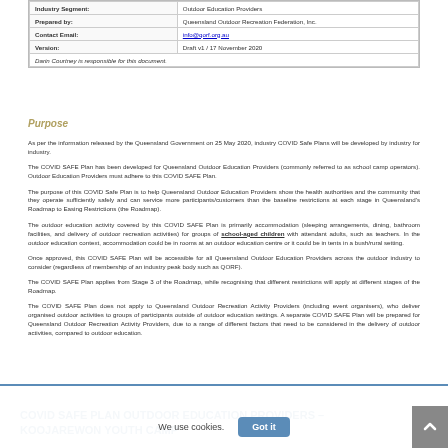| Industry Segment | Outdoor Education Providers |
| --- | --- |
| Prepared by: | Queensland Outdoor Recreation Federation, Inc. |
| Contact Email: | info@qorf.org.au |
| Version: | Draft v1 / 17 November 2020 |
| Darin Courtney is responsible for this document. |  |
Purpose
As per the information released by the Queensland Government on 25 May 2020, industry COVID Safe Plans will be developed by industry for industry.
The COVID SAFE Plan has been developed for Queensland Outdoor Education Providers (commonly referred to as school camp operators). Outdoor Education Providers must adhere to this COVID SAFE Plan.
The purpose of this COVID Safe Plan is to help Queensland Outdoor Education Providers show the health authorities and the community that they operate sufficiently safely and can service more participants/customers than the baseline restrictions at each stage in Queensland's Roadmap to Easing Restrictions (the Roadmap).
The outdoor education activity covered by this COVID SAFE Plan is primarily accommodation (sleeping arrangements, dining, bathroom facilities, and delivery of outdoor recreation activities) for groups of school-aged children with attendant adults, such as teachers. In the outdoor education context, accommodation could be in rooms at an outdoor education centre or it could be in tents in a bush/rural setting.
Once approved, this COVID SAFE Plan will be accessible for all Queensland Outdoor Education Providers across the outdoor industry to consider (regardless of membership of an industry peak body such as QORF).
The COVID SAFE Plan applies from Stage 3 of the Roadmap, while recognising that different restrictions will apply at different stages of the Roadmap.
The COVID SAFE Plan does not apply to Queensland Outdoor Recreation Activity Providers (including event organisers), who deliver organised outdoor activities to groups of participants outside of outdoor education settings. A separate COVID SAFE Plan will be prepared for Queensland Outdoor Recreation Activity Providers, due to a range of different factors that need to be considered in the delivery of outdoor activities, compared to outdoor education.
COVID SAFE PLAN OUTDOOR EDUCATION PROVIDERS - KOOJAREWON YOUTH CAMP